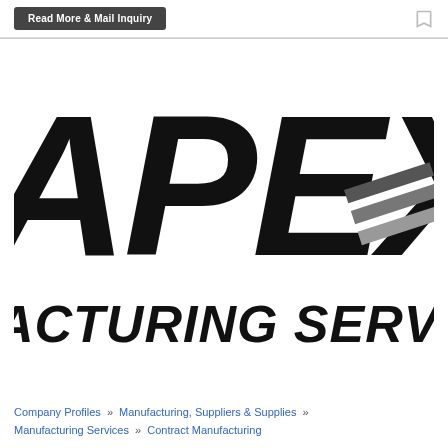Read More & Mail Inquiry
[Figure (logo): Apex Manufacturing Services logo — large bold text showing 'PEX' and partial letters, with 'ACTURING SERVICES' below, in black on white background]
Company Profiles » Manufacturing, Suppliers & Supplies » Manufacturing Services » Contract Manufacturing